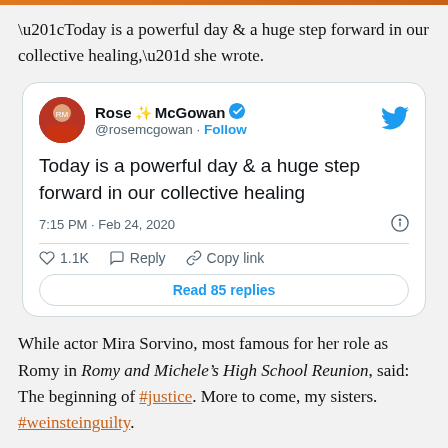“Today is a powerful day & a huge step forward in our collective healing,” she wrote.
[Figure (screenshot): Embedded tweet from Rose McGowan (@rosemcgowan) verified account. Tweet text: 'Today is a powerful day & a huge step forward in our collective healing'. Posted at 7:15 PM · Feb 24, 2020. 1.1K likes. Reply and Copy link actions. Read 85 replies button.]
While actor Mira Sorvino, most famous for her role as Romy in Romy and Michele’s High School Reunion, said: The beginning of #justice. More to come, my sisters. #weinsteinguilty.